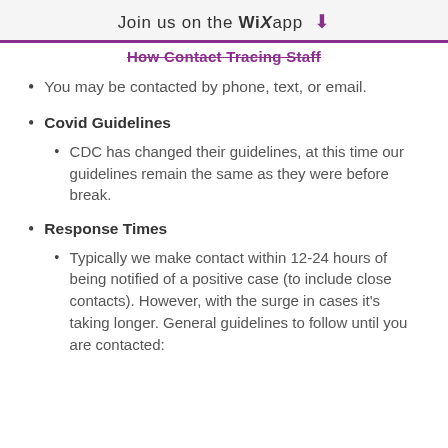Join us on the WiX app
How Contact Tracing Staff
You may be contacted by phone, text, or email.
Covid Guidelines
CDC has changed their guidelines, at this time our guidelines remain the same as they were before break.
Response Times
Typically we make contact within 12-24 hours of being notified of a positive case (to include close contacts). However, with the surge in cases it's taking longer. General guidelines to follow until you are contacted: